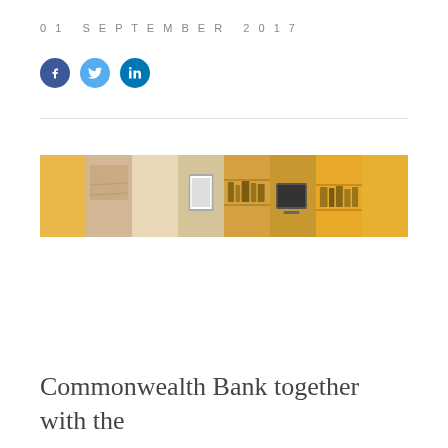01 SEPTEMBER 2017
[Figure (photo): Panoramic strip photo showing interior of an office or library space with warm yellow and beige tones, shelves, and documents.]
Commonwealth Bank together with the